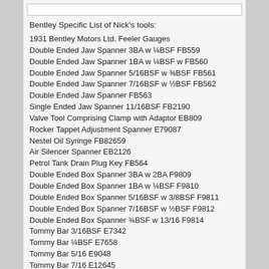Bentley Specific List of Nick's tools:
1931 Bentley Motors Ltd. Feeler Gauges
Double Ended Jaw Spanner 3BA w ¼BSF FB559
Double Ended Jaw Spanner 1BA w ¼BSF w FB560
Double Ended Jaw Spanner 5/16BSF w ⅜BSF FB561
Double Ended Jaw Spanner 7/16BSF w ½BSF FB562
Double Ended Jaw Spanner FB563
Single Ended Jaw Spanner 11/16BSF FB2190
Valve Tool Comprising Clamp with Adaptor EB809
Rocker Tappet Adjustment Spanner E79087
Nestel Oil Syringe FB82659
Air Silencer Spanner EB2126
Petrol Tank Drain Plug Key FB564
Double Ended Box Spanner 3BA w 2BA F9809
Double Ended Box Spanner 1BA w ¼BSF F9810
Double Ended Box Spanner 5/16BSF w 3/8BSF F9811
Double Ended Box Spanner 7/16BSF w ½BSF F9812
Double Ended Box Spanner ¾BSF w 13/16 F9814
Tommy Bar 3/16BSF E7342
Tommy Bar ¼BSF E7658
Tommy Bar 5/16 E9048
Tommy Bar 7/16 E12645
***Update**
Peter Charlton has found this exceptional Derby tool kit and has kindly let us feature it on this page.
It looks like the type tucks away in the trunk is sometimes integrated on a separate tray or on the inside of the trunk panel itself.